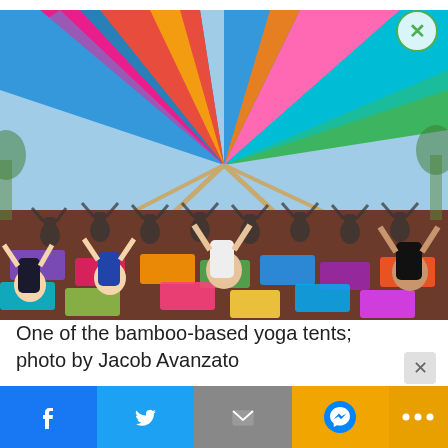[Figure (photo): Large yoga session under a colorful bamboo-supported tent with many participants on yoga mats with arms raised]
One of the bamboo-based yoga tents; photo by Jacob Avanzato
[Figure (other): Social sharing bar with Facebook, Twitter, Email, Messenger, and More buttons]